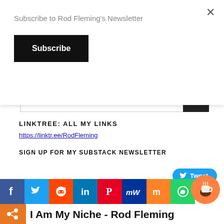Subscribe to Rod Fleming's Newsletter
Subscribe
LINKTREE: ALL MY LINKS
https://linktr.ee/RodFleming
SIGN UP FOR MY SUBSTACK NEWSLETTER
[Figure (screenshot): Social share bar with icons for Facebook, Twitter, Reddit, LinkedIn, Pinterest, MeWe, Mix, WhatsApp]
Tweet
[Figure (illustration): Buy me a coffee orange circular button]
I Am My Niche - Rod Fleming